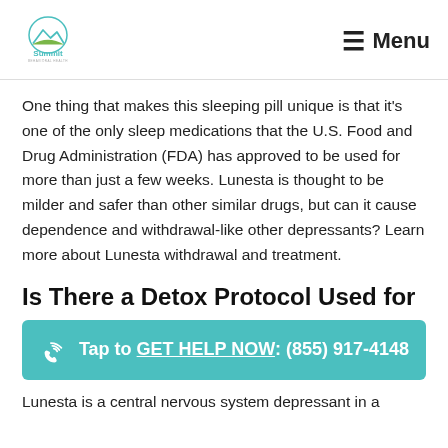Summit Behavioral Health | Menu
One thing that makes this sleeping pill unique is that it's one of the only sleep medications that the U.S. Food and Drug Administration (FDA) has approved to be used for more than just a few weeks. Lunesta is thought to be milder and safer than other similar drugs, but can it cause dependence and withdrawal-like other depressants? Learn more about Lunesta withdrawal and treatment.
Is There a Detox Protocol Used for
Tap to GET HELP NOW: (855) 917-4148
Lunesta is a central nervous system depressant in a